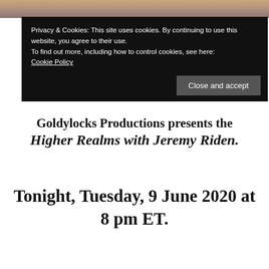[Figure (photo): Top portion of decorative image with warm golden/purple tones, partially visible]
Privacy & Cookies: This site uses cookies. By continuing to use this website, you agree to their use. To find out more, including how to control cookies, see here: Cookie Policy
Close and accept
Goldylocks Productions presents the Higher Realms with Jeremy Riden.
Tonight, Tuesday, 9 June 2020 at 8 pm ET.